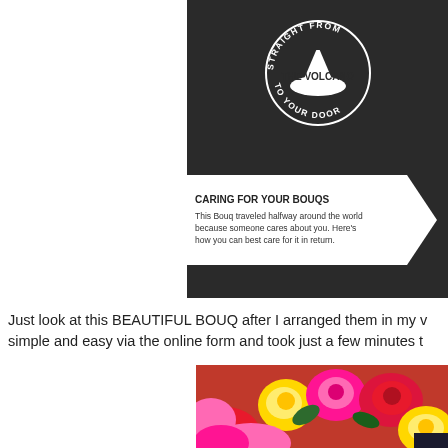[Figure (photo): Photo of a dark black bag/packaging showing the Bouqs company logo (a circular badge reading 'STRAIGHT FROM THE VOLCANO TO YOUR DOOR') and a white arrow-shaped label reading 'CARING FOR YOUR BOUQS - This Bouq traveled halfway around the world because someone cares about you. Here's how you can best care for it in return.']
Just look at this BEAUTIFUL BOUQ after I arranged them in my v... simple and easy via the online form and took just a few minutes t...
[Figure (photo): Close-up photo of a colorful bouquet of roses including yellow, pink/magenta, and red roses arranged together.]